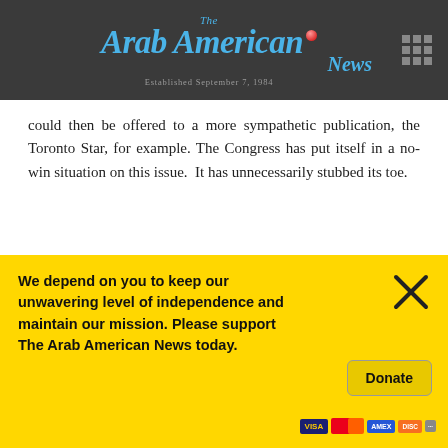The Arab American News — Established September 7, 1984
could then be offered to a more sympathetic publication, the Toronto Star, for example. The Congress has put itself in a no-win situation on this issue.  It has unnecessarily stubbed its toe.
By Reuel S. Amdur
[Figure (other): Social sharing buttons: Follow (blue), Facebook (dark blue), Twitter (light blue), LinkedIn (blue), WhatsApp (grey), Email (grey)]
We depend on you to keep our unwavering level of independence and maintain our mission. Please support The Arab American News today.